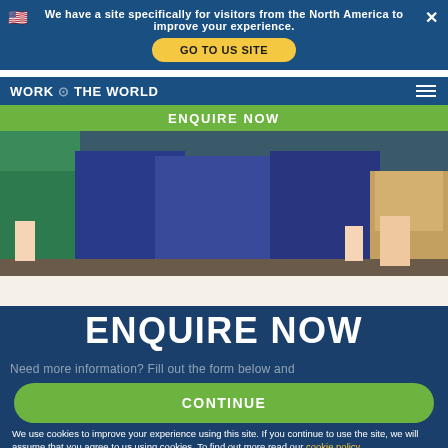We have a site specifically for visitors from the North America to improve your experience.
GO TO US SITE
ENQUIRE NOW
[Figure (photo): Group of people wearing medical scrubs in green and blue colors, photo cropped to mid-body]
ENQUIRE NOW
Need more information? Fill out the form below and
CONTINUE
We use cookies to improve your experience using this site. If you continue to use the site, we will assume that you agree to us using cookies. To find out more read our cookie policy.